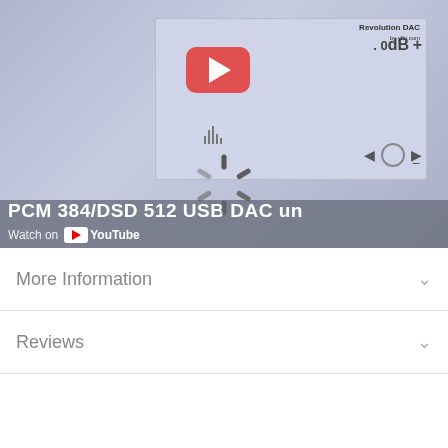[Figure (screenshot): YouTube video thumbnail showing a Revolution DAC product page with a PCM 384/DSD 512 USB DAC video. The video player shows a loading spinner overlay. Text at bottom reads 'PCM 384/DSD 512 USB DAC und' and 'Watch on YouTube'.]
More Information
Reviews